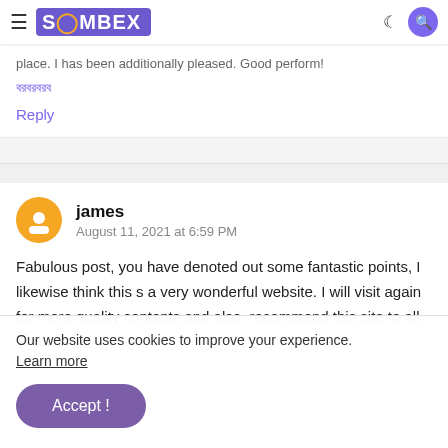SOMBEX
place. I has been additionally pleased. Good perform!
বরবরবরব
Reply
james
August 11, 2021 at 6:59 PM
Fabulous post, you have denoted out some fantastic points, I likewise think this s a very wonderful website. I will visit again for more quality contents and also, recommend this site to all. Thanks. pii-
Our website uses cookies to improve your experience. Learn more
Accept !